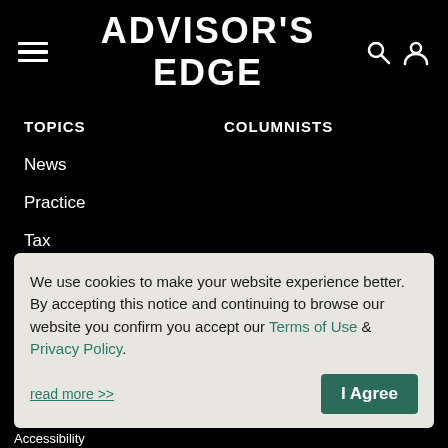ADVISOR'S EDGE
TOPICS
COLUMNISTS
News
Practice
Tax
Investments
Insurance
We use cookies to make your website experience better. By accepting this notice and continuing to browse our website you confirm you accept our Terms of Use & Privacy Policy.
read more >>
I Agree
Accessibility